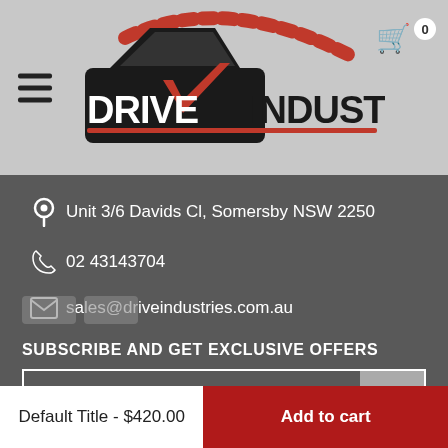[Figure (logo): Drive Industries logo with stylized car silhouette and red checkmark swoosh, bold black text]
Unit 3/6 Davids Cl, Somersby NSW 2250
02 43143704
sales@driveindustries.com.au
SUBSCRIBE AND GET EXCLUSIVE OFFERS
Enter your email
WE ACCEPT:
Default Title - $420.00
Add to cart